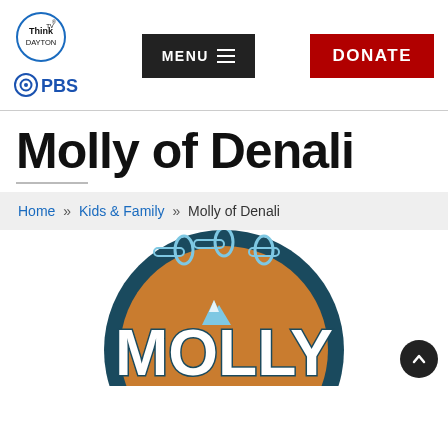[Figure (logo): ThinkTV circle logo with registered trademark symbol]
[Figure (logo): PBS logo with blue gear/eye icon and PBS text]
[Figure (other): MENU button with hamburger icon, dark background]
[Figure (other): DONATE button with red background and white text]
Molly of Denali
Home » Kids & Family » Molly of Denali
[Figure (logo): Molly of Denali show logo: circular badge with dark teal border, orange background, 'MOLLY' text in white with mountain/sky imagery]